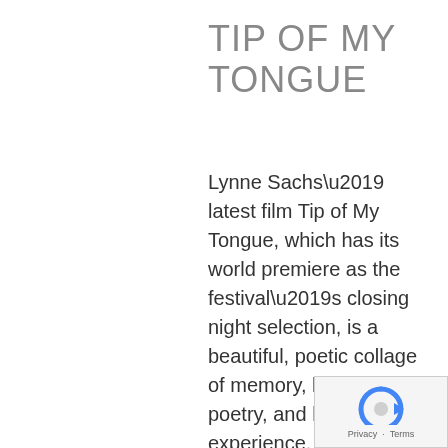TIP OF MY TONGUE
Lynne Sachs’ latest film Tip of My Tongue, which has its world premiere as the festival’s closing night selection, is a beautiful, poetic collage of memory, history, poetry, and lived experience, in all its joys, sorrows, fears, hopes, triumphs, and tragedies.
[Figure (other): reCAPTCHA widget with Privacy and Terms links]